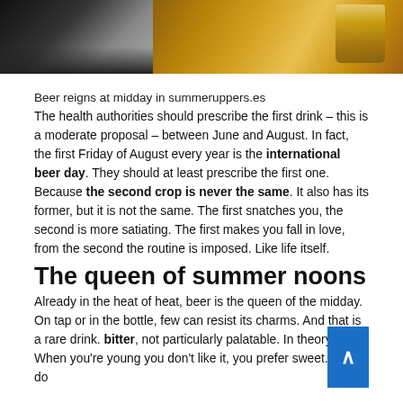[Figure (photo): Two-panel photo: left side shows dark silhouettes of bar glasses/bottles against a bright background; right side shows a glass mug of beer on a wooden surface.]
Beer reigns at midday in summeruppers.es
The health authorities should prescribe the first drink – this is a moderate proposal – between June and August. In fact, the first Friday of August every year is the international beer day. They should at least prescribe the first one. Because the second crop is never the same. It also has its former, but it is not the same. The first snatches you, the second is more satiating. The first makes you fall in love, from the second the routine is imposed. Like life itself.
The queen of summer noons
Already in the heat of heat, beer is the queen of the midday. On tap or in the bottle, few can resist its charms. And that is a rare drink. bitter, not particularly palatable. In theory, sure. When you're young you don't like it, you prefer sweet. You do